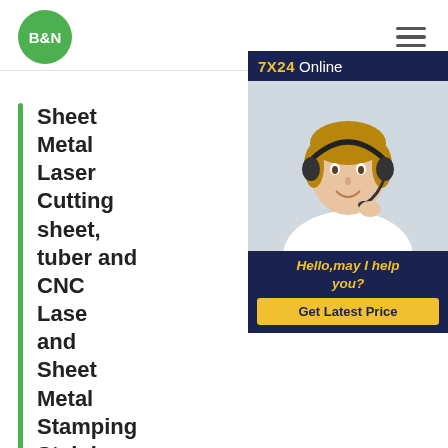B&N logo and navigation hamburger menu
[Figure (infographic): 7X24 Online chat widget with female customer service representative wearing headset, with 'Hello,may I help you?' text and 'Get Latest Price' button]
Sheet Metal Laser Cutting sheet, tuber and CNC Laser and Sheet Metal Stamping Stainless Steel Stamping L - Metal Stamping
We have complete tool and die fabrication shop, we are skilled in all areas of fabrication including laser cut , CNC bending, TIG welding, spot welding, brazing, polishing, painting, anodizing, etc, of course, press machine from 16T to 160T which are